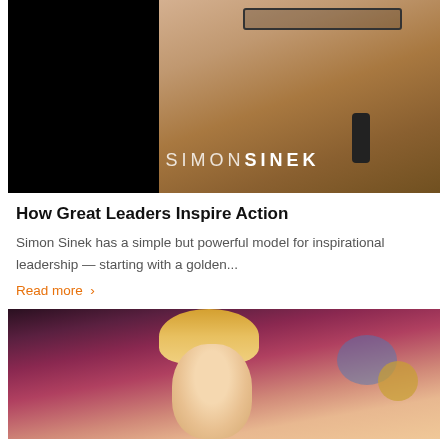[Figure (photo): Photo of Simon Sinek speaking on stage, holding a microphone, with 'SIMONSINEK' text overlay on a dark background]
How Great Leaders Inspire Action
Simon Sinek has a simple but powerful model for inspirational leadership — starting with a golden...
Read more ›
[Figure (photo): Photo of a blonde woman looking upward, taken at a TED-style event with colorful background lighting]